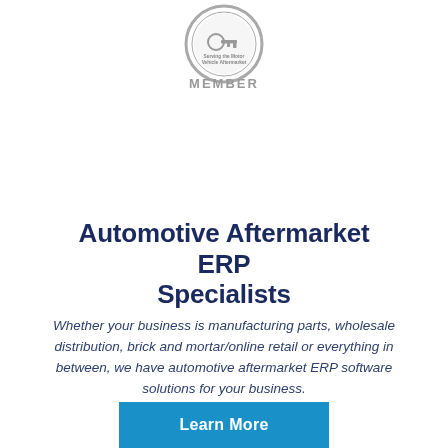[Figure (logo): Circular association badge/logo in grey tones with text 'Serving the Motor Vehicle Aftermarket' and 'MEMBER' text below in bold grey caps]
Automotive Aftermarket ERP Specialists
Whether your business is manufacturing parts, wholesale distribution, brick and mortar/online retail or everything in between, we have automotive aftermarket ERP software solutions for your business.
Learn More